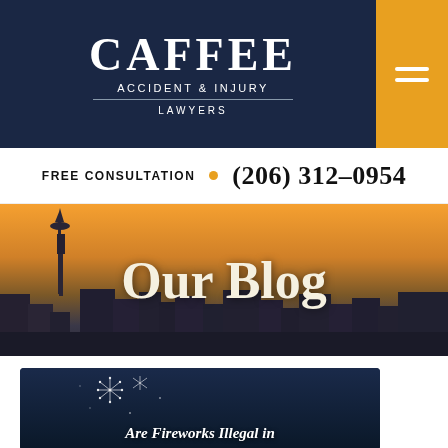CAFFEE ACCIDENT & INJURY LAWYERS
FREE CONSULTATION  •  (206) 312-0954
[Figure (photo): Seattle skyline at sunset with Space Needle visible, warm orange and golden sky, city buildings silhouetted in background]
Our Blog
[Figure (photo): Dark blue background with fireworks sparkles, card for blog post]
Are Fireworks Illegal in